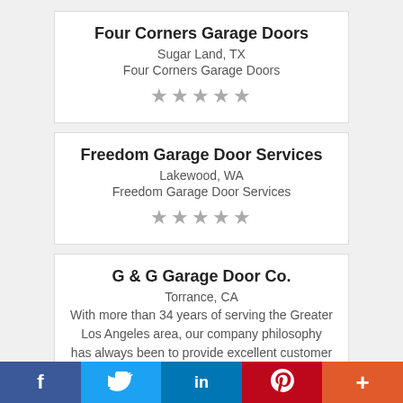Four Corners Garage Doors
Sugar Land, TX
Four Corners Garage Doors
[Figure (other): Five star rating (empty/outline stars)]
Freedom Garage Door Services
Lakewood, WA
Freedom Garage Door Services
[Figure (other): Five star rating (empty/outline stars)]
G & G Garage Door Co.
Torrance, CA
With more than 34 years of serving the Greater Los Angeles area, our company philosophy has always been to provide excellent customer service.
[Figure (other): Five star rating (partial visible)]
f  (Twitter bird)  in  (Pinterest P)  +